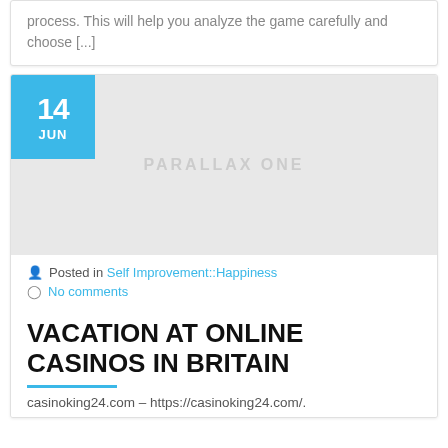process. This will help you analyze the game carefully and choose [...]
[Figure (other): Blog post thumbnail image placeholder with date badge showing 14 JUN in blue square, and PARALLAX ONE watermark on grey background]
Posted in Self Improvement::Happiness
No comments
VACATION AT ONLINE CASINOS IN BRITAIN
casinoking24.com – https://casinoking24.com/.